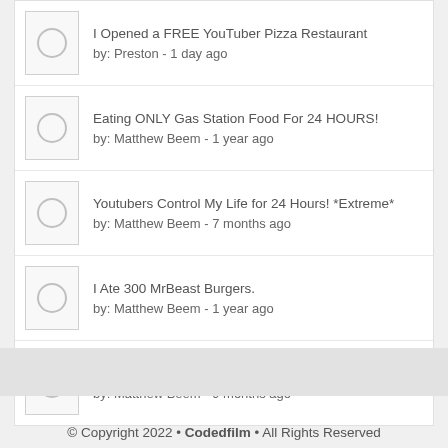I Opened a FREE YouTuber Pizza Restaurant by: Preston - 1 day ago
Eating ONLY Gas Station Food For 24 HOURS! by: Matthew Beem - 1 year ago
Youtubers Control My Life for 24 Hours! *Extreme* by: Matthew Beem - 7 months ago
I Ate 300 MrBeast Burgers. by: Matthew Beem - 1 year ago
I Survived the Worlds Scariest Clown Motel by: Matthew Beem - 9 months ago
© Copyright 2022 • Codedfilm • All Rights Reserved